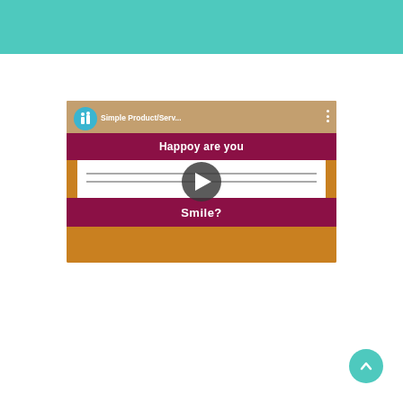[Figure (screenshot): Teal/turquoise header bar at the top of the page, part of a dental website UI]
[Figure (screenshot): YouTube video thumbnail showing a dental product/service promotional video with text 'Simple Product/Serv...' and 'Happy are you Smile?' with a play button overlay, on an orange background with crimson banners]
[Figure (other): Teal circular scroll-to-top button with upward chevron arrow in bottom right corner]